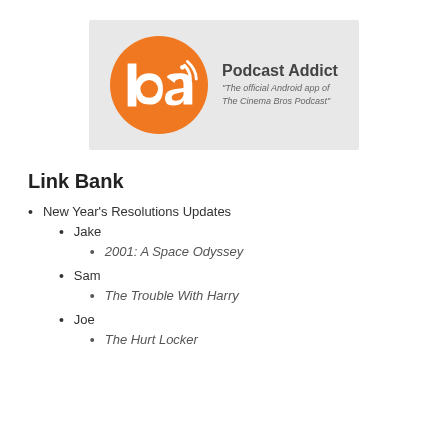[Figure (logo): Podcast Addict logo: orange circle with white 'pa' letters and wifi signal icon, text reads 'Podcast Addict' and quote 'The official Android app of The Cinema Bros Podcast']
Link Bank
New Year's Resolutions Updates
Jake
2001: A Space Odyssey
Sam
The Trouble With Harry
Joe
The Hurt Locker